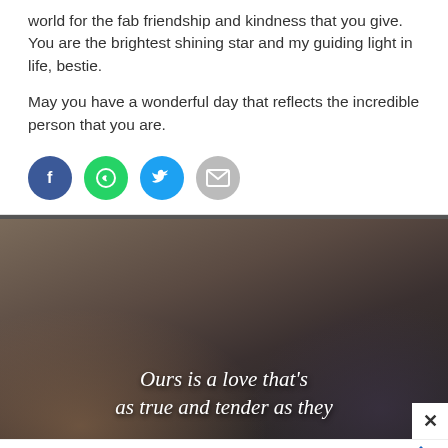world for the fab friendship and kindness that you give. You are the brightest shining star and my guiding light in life, bestie.
May you have a wonderful day that reflects the incredible person that you are.
[Figure (infographic): Four social share buttons: Facebook (blue circle with F), WhatsApp (green circle with phone/leaf logo), Twitter (blue circle with bird), Email (grey circle with envelope icon)]
[Figure (photo): Dark photo of two people holding hands with white italic text overlay reading 'Ours is a love that's as true and tender as they' with a close button in bottom right corner]
Perfect activity for everyone Topgolf